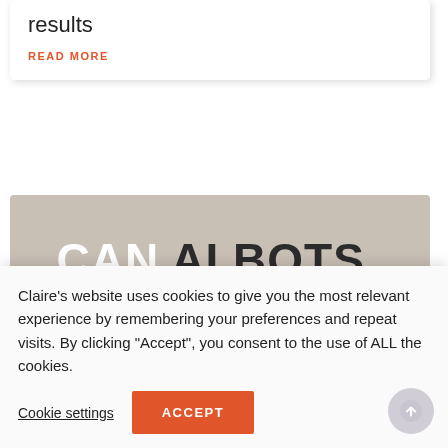results
READ MORE
[Figure (illustration): Blog post thumbnail image with tan/beige background and large bold text reading: CAN AI BOTS WRITE GOOD BLOGPOSTS?]
Claire’s website uses cookies to give you the most relevant experience by remembering your preferences and repeat visits. By clicking “Accept”, you consent to the use of ALL the cookies.
Cookie settings
ACCEPT